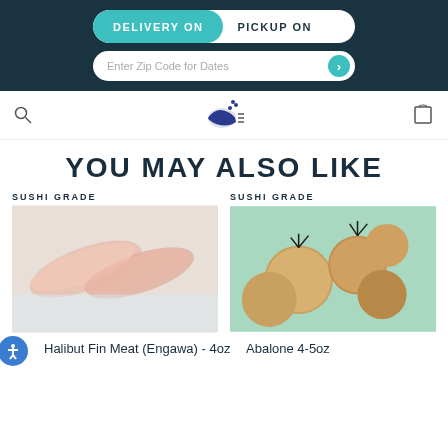DELIVERY ON  PICKUP ON
Enter Zip Code for Dates
[Figure (logo): Fish logo with stars and hamburger menu icon]
YOU MAY ALSO LIKE
SUSHI GRADE
[Figure (photo): Two strips of halibut fin meat (engawa) on ice]
SUSHI GRADE
[Figure (photo): Abalone shells 4-5oz with spines visible on teal background]
Halibut Fin Meat (Engawa) - 4oz
Abalone 4-5oz